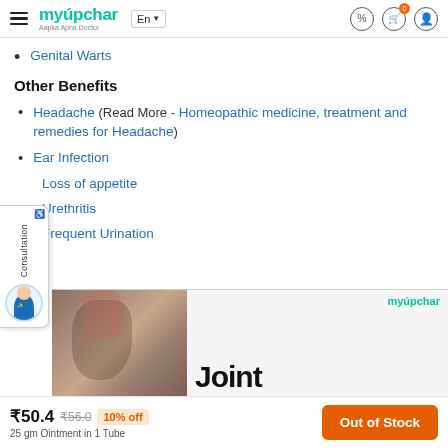myupchar Aapka Apna Doctor — En — navigation icons
Genital Warts
Other Benefits
Headache (Read More - Homeopathic medicine, treatment and remedies for Headache)
Ear Infection
Loss of appetite
Urethritis
Frequent Urination
[Figure (photo): Advertisement banner showing a knee/joint image with myupchar logo and the word 'Joint']
₹50.4  ₹56.0  10% off  25 gm Ointment in 1 Tube  Out of Stock